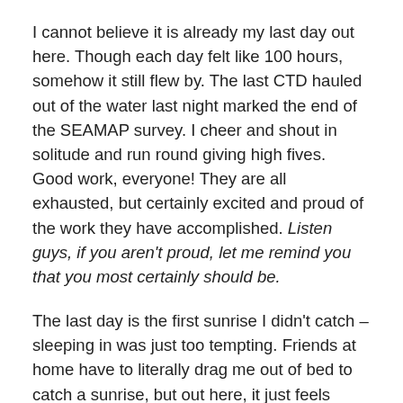I cannot believe it is already my last day out here. Though each day felt like 100 hours, somehow it still flew by. The last CTD hauled out of the water last night marked the end of the SEAMAP survey. I cheer and shout in solitude and run round giving high fives. Good work, everyone! They are all exhausted, but certainly excited and proud of the work they have accomplished. Listen guys, if you aren't proud, let me remind you that you most certainly should be.
The last day is the first sunrise I didn't catch – sleeping in was just too tempting. Friends at home have to literally drag me out of bed to catch a sunrise, but out here, it just feels right. We ease into our day and clean and prepare the working spaces and equipment for arrival. I mop. That's about all I am good for. TAS card. I spend the day roaming as usual, this time reflecting on my arrival and experience at sea. Time slows down even more (if you